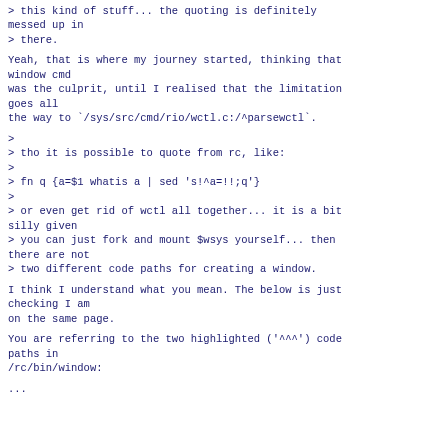> this kind of stuff... the quoting is definitely messed up in
> there.
Yeah, that is where my journey started, thinking that window cmd
was the culprit, until I realised that the limitation goes all
the way to `/sys/src/cmd/rio/wctl.c:/^parsewctl`.
>
> tho it is possible to quote from rc, like:
>
> fn q {a=$1 whatis a | sed 's!^a=!!;q'}
>
> or even get rid of wctl all together... it is a bit silly given
> you can just fork and mount $wsys yourself... then there are not
> two different code paths for creating a window.
I think I understand what you mean. The below is just checking I am
on the same page.
You are referring to the two highlighted ('^^^') code paths in
/rc/bin/window:
...